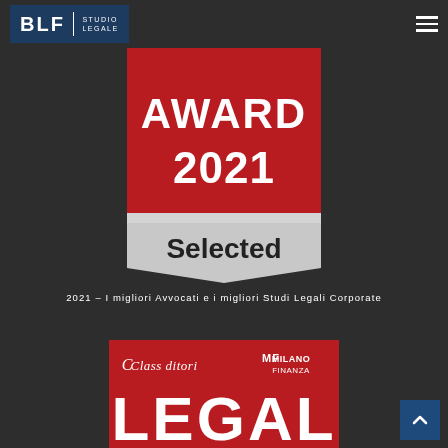BLF | STUDIO LEGALE
[Figure (illustration): Award 2021 badge - red ribbon banner shape with white text 'AWARD' and '2021' at top, silver ribbon at bottom with bold black text 'Selected']
2021 – I migliori Avvocati e i migliori Studi Legali Corporate
[Figure (illustration): ClassEditori / MF Milano Finanza LEGAL award badge - red background with logos at top and large white 'LEGAL' text partially visible]